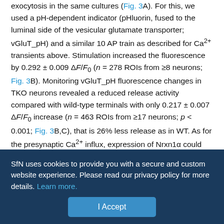exocytosis in the same cultures (Fig. 3A). For this, we used a pH-dependent indicator (pHluorin, fused to the luminal side of the vesicular glutamate transporter; vGluT_pH) and a similar 10 AP train as described for Ca2+ transients above. Stimulation increased the fluorescence by 0.292 ± 0.009 ΔF/F0 (n = 278 ROIs from ≥8 neurons; Fig. 3B). Monitoring vGluT_pH fluorescence changes in TKO neurons revealed a reduced release activity compared with wild-type terminals with only 0.217 ± 0.007 ΔF/F0 increase (n = 463 ROIs from ≥17 neurons; p < 0.001; Fig. 3B,C), that is 26% less release as in WT. As for the presynaptic Ca2+ influx, expression of Nrxn1α could ameliorate the release phenotype in TKO neurons (TKO/Nrxn1α: 0.278 ± 0.008 ΔF/F0; n = 482 ROIs from ≥14 neurons; p < 0.001 compared with TKO, p = 0.59 compared with wild-type; Fig. 3B,C). Together, these data demonstrate the reliability
SfN uses cookies to provide you with a secure and custom website experience. Please read our privacy policy for more details. Learn more.